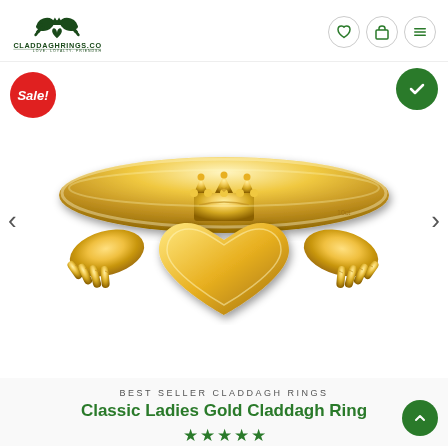[Figure (logo): CladdaghRings.com logo with Claddagh symbol and tagline LOVE. LOYALTY. FRIENDSHIP]
[Figure (photo): Gold Claddagh ring product photo showing hands holding a heart topped with a crown, in yellow gold, with Sale badge and navigation arrows]
BEST SELLER CLADDAGH RINGS
Classic Ladies Gold Claddagh Ring
[Figure (other): Five green star rating icons]